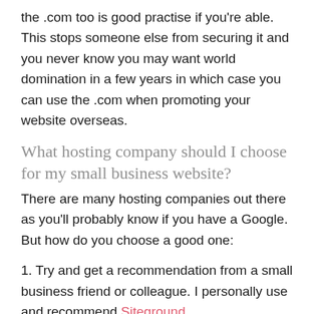the .com too is good practise if you're able. This stops someone else from securing it and you never know you may want world domination in a few years in which case you can use the .com when promoting your website overseas.
What hosting company should I choose for my small business website?
There are many hosting companies out there as you'll probably know if you have a Google. But how do you choose a good one:
1. Try and get a recommendation from a small business friend or colleague. I personally use and recommend Siteground